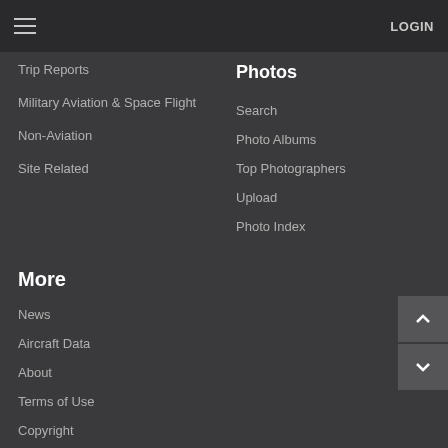LOGIN
Trip Reports
Military Aviation & Space Flight
Non-Aviation
Site Related
Photos
Search
Photo Albums
Top Photographers
Upload
Photo Index
More
News
Aircraft Data
About
Terms of Use
Copyright
Privacy Policy
Contact us